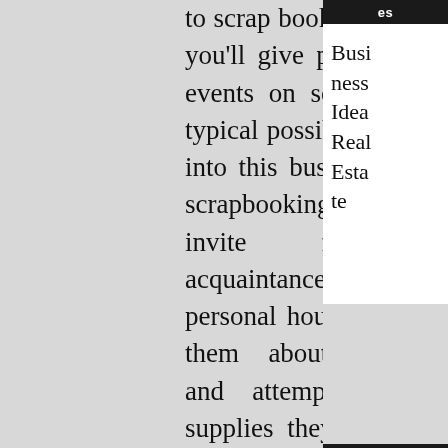to scrap bookers. Chances are you'll give packages or hold events on scrap booking. A typical possibility to interrupt into this business is to carry scrapbookingâ€¦ events. You invite friends and acquaintances to your personal house, inform all of them about scrapbooking, and attempt to sell the supplies they might wish to get started. To begin one among these home-primarily based businesses, you don't want a whole lot of funding –
es
Business Idea Real Estate
Tags
about agent